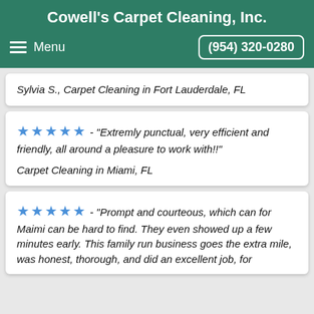Cowell's Carpet Cleaning, Inc.
Menu | (954) 320-0280
Sylvia S., Carpet Cleaning in Fort Lauderdale, FL
★★★★★ - "Extremly punctual, very efficient and friendly, all around a pleasure to work with!!"
Carpet Cleaning in Miami, FL
★★★★★ - "Prompt and courteous, which can for Maimi can be hard to find. They even showed up a few minutes early. This family run business goes the extra mile, was honest, thorough, and did an excellent job, for